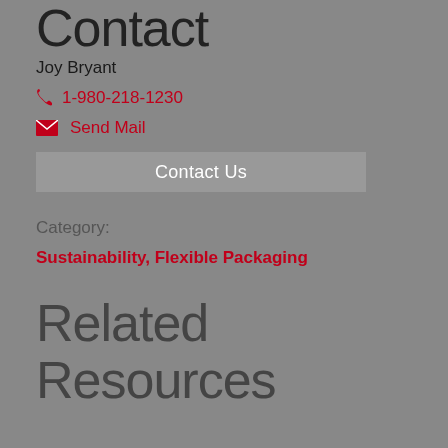Contact
Joy Bryant
1-980-218-1230
Send Mail
Contact Us
Category:
Sustainability, Flexible Packaging
Related Resources